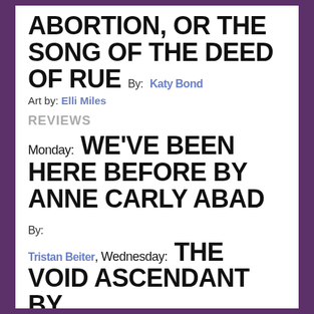ABORTION, OR THE SONG OF THE DEED OF RUE By: Katy Bond
Art by: Elli Miles
REVIEWS
Monday: WE'VE BEEN HERE BEFORE BY ANNE CARLY ABAD By: Tristan Beiter, Wednesday: THE VOID ASCENDANT BY PREMEE MOHAMED By: ...Hamilton, Friday: GARDEN
Hamilton, Friday: GARDEN